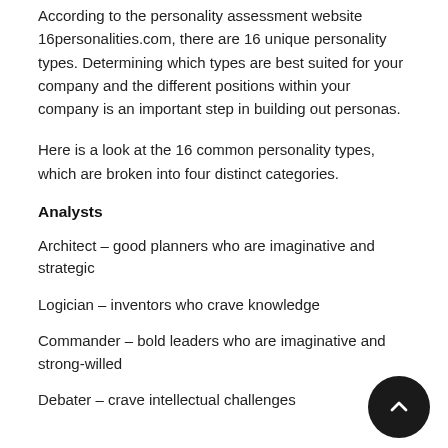According to the personality assessment website 16personalities.com, there are 16 unique personality types. Determining which types are best suited for your company and the different positions within your company is an important step in building out personas.
Here is a look at the 16 common personality types, which are broken into four distinct categories.
Analysts
Architect – good planners who are imaginative and strategic
Logician – inventors who crave knowledge
Commander – bold leaders who are imaginative and strong-willed
Debater – crave intellectual challenges